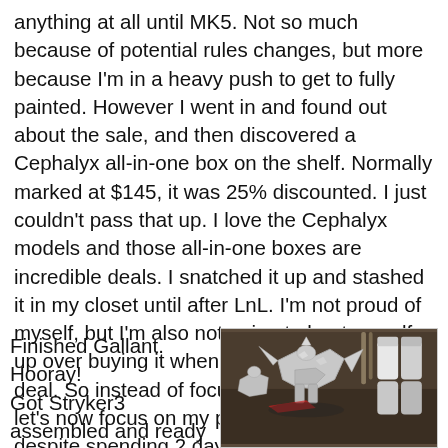anything at all until MK5. Not so much because of potential rules changes, but more because I'm in a heavy push to get to fully painted. However I went in and found out about the sale, and then discovered a Cephalyx all-in-one box on the shelf. Normally marked at $145, it was 25% discounted. I just couldn't pass that up. I love the Cephalyx models and those all-in-one boxes are incredible deals. I snatched it up and stashed it in my closet until after LnL. I'm not proud of myself, but I'm also not going to beat myself up over buying it when it was such a great deal. So instead of focusing on that news, let's now focus on my progress for this week, despite spending 2 days in DC this week.
Finished Gallant. Hooray!
Got Stryker3 assembled and ready to prime.
Trench Buster is almost done...
[Figure (photo): Photo of assembled miniature figures on a workbench, showing silver/unpainted models with painting supplies in the background including brushes and paint pots.]